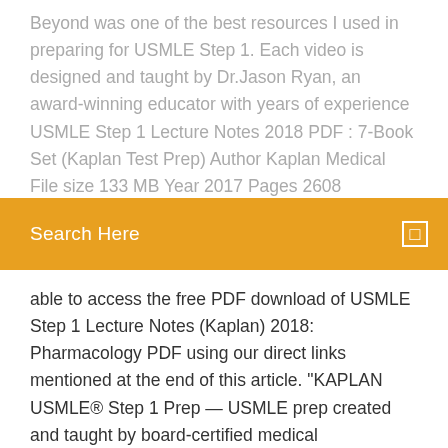Beyond was one of the best resources I used in preparing for USMLE Step 1. Each video is designed and taught by Dr.Jason Ryan, an award-winning educator with years of experience USMLE Step 1 Lecture Notes 2018 PDF : 7-Book Set (Kaplan Test Prep) Author Kaplan Medical File size 133 MB Year 2017 Pages 2608 Language English File format PDF Category Free
Search Here
able to access the free PDF download of USMLE Step 1 Lecture Notes (Kaplan) 2018: Pharmacology PDF using our direct links mentioned at the end of this article. "KAPLAN USMLE® Step 1 Prep — USMLE prep created and taught by board-certified medical professionals who know what it takes to reach your residency" BUY KAPLAN STEP 1 On-Demand 2019 FREE DOWNLOAD 1 week Ago January 5, 2020 DR.Paul changes in first aid Direct Link Pdf Plus New Updates Download First Aid for the USMLE Step 1 2019 First Aid first aid 2019 errata first